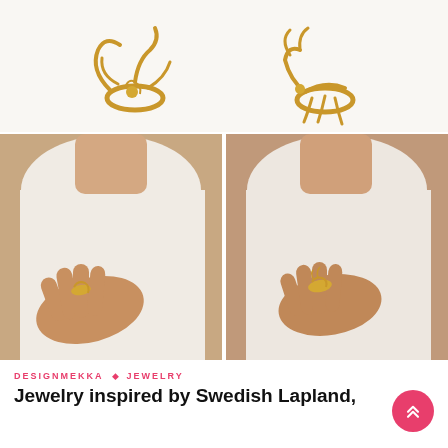[Figure (photo): Four product photos of gold animal-shaped rings. Top row: two close-up shots of gold jewelry pieces on white background — left shows a cat/octopus gold ring, right shows a reindeer/fox gold ring. Bottom row: two styled shots of a woman in a white top wearing the rings — left hand wearing cat ring, right hand wearing reindeer ring.]
DESIGNMEKKA · JEWELRY
Jewelry inspired by Swedish Lapland,